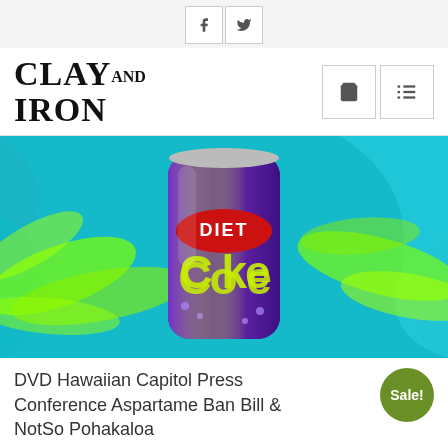f  (facebook)  |  (twitter)
CLAY AND IRON
[Figure (photo): A purple Diet Coke can surrounded by swirling green smoke/vapor against a teal/cyan wavy background]
DVD Hawaiian Capitol Press Conference Aspartame Ban Bill & NotSo Pohakaloa
$30.00 • $24.00
Sale!